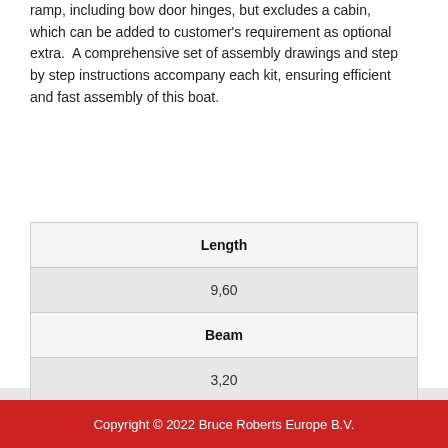ramp, including bow door hinges, but excludes a cabin, which can be added to customer's requirement as optional extra. A comprehensive set of assembly drawings and step by step instructions accompany each kit, ensuring efficient and fast assembly of this boat.
| Length |
| 9,60 |
| Beam |
| 3,20 |
| Propulsion plant |
| Outboard |
Copyright © 2022 Bruce Roberts Europe B.V.